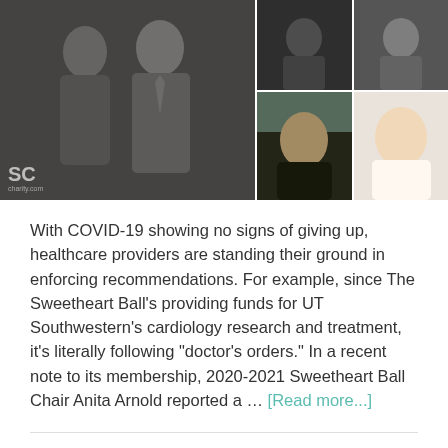[Figure (photo): Photo collage: left side shows two people (couple) in formal wear against a dark background with 'SC charity.com' watermark; right side shows two smaller portrait photos of women]
With COVID-19 showing no signs of giving up, healthcare providers are standing their ground in enforcing recommendations. For example, since The Sweetheart Ball's providing funds for UT Southwestern's cardiology research and treatment, it's literally following "doctor's orders." In a recent note to its membership, 2020-2021 Sweetheart Ball Chair Anita Arnold reported a … [Read more...]